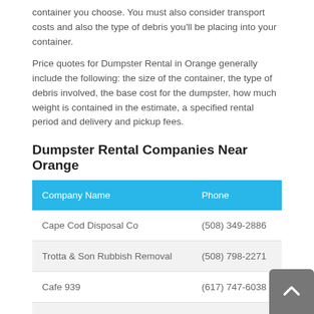container you choose. You must also consider transport costs and also the type of debris you'll be placing into your container.
Price quotes for Dumpster Rental in Orange generally include the following: the size of the container, the type of debris involved, the base cost for the dumpster, how much weight is contained in the estimate, a specified rental period and delivery and pickup fees.
Dumpster Rental Companies Near Orange
| Company Name | Phone |
| --- | --- |
| Cape Cod Disposal Co | (508) 349-2886 |
| Trotta & Son Rubbish Removal | (508) 798-2271 |
| Cafe 939 | (617) 747-6038 |